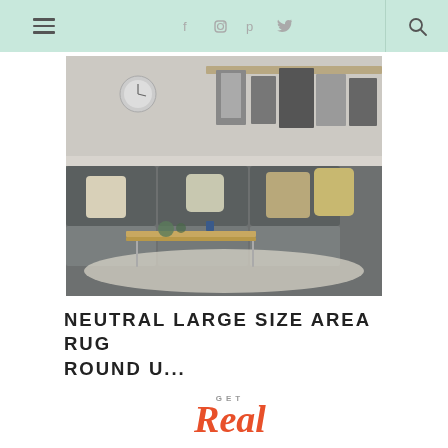Navigation bar with menu, social icons (Facebook, Instagram, Pinterest, Twitter), and search
[Figure (photo): Interior living room with large gray sectional sofa, wooden coffee table, wall shelving with framed artwork, and a light-colored area rug]
NEUTRAL LARGE SIZE AREA RUG ROUND U...
[Figure (illustration): Decorative 'Get Real' text graphic in orange/coral italic script font]